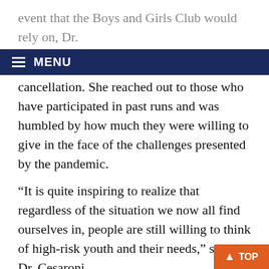event that the Boys and Girls Club would rely on, Dr.
MENU
cancellation. She reached out to those who have participated in past runs and was humbled by how much they were willing to give in the face of the challenges presented by the pandemic.
“It is quite inspiring to realize that regardless of the situation we now all find ourselves in, people are still willing to think of high-risk youth and their needs,” says Dr. Cesaroni.
Jill Dallaire, Youth Justice Services Director at the Boys and Girls Club says the amount raised could not have come at a better time. According to Dallaire, food security has been the greatest challenge faced by the Boys and Girls Club. The funds raised have allowed the Boys...